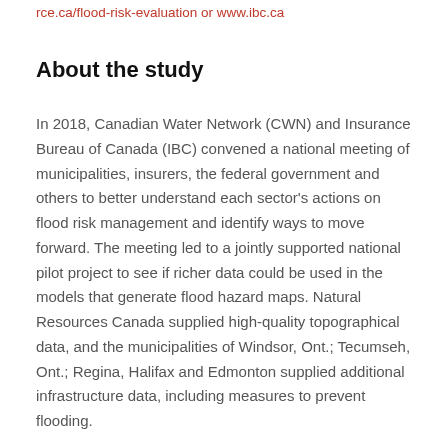rce.ca/flood-risk-evaluation or www.ibc.ca
About the study
In 2018, Canadian Water Network (CWN) and Insurance Bureau of Canada (IBC) convened a national meeting of municipalities, insurers, the federal government and others to better understand each sector's actions on flood risk management and identify ways to move forward. The meeting led to a jointly supported national pilot project to see if richer data could be used in the models that generate flood hazard maps. Natural Resources Canada supplied high-quality topographical data, and the municipalities of Windsor, Ont.; Tecumseh, Ont.; Regina, Halifax and Edmonton supplied additional infrastructure data, including measures to prevent flooding.